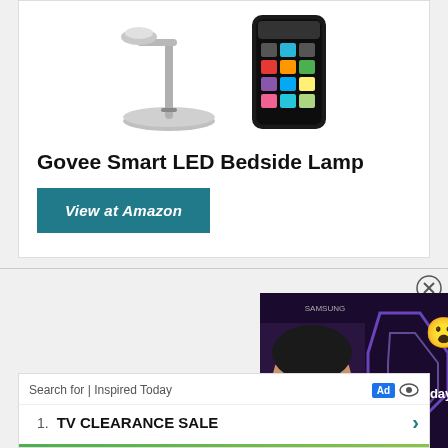[Figure (photo): Product card showing a silver Govee Smart LED bedside lamp and a smartphone with color picker interface]
Govee Smart LED Bedside Lamp
View at Amazon
[Figure (screenshot): Samsung sponsored video ad showing a person with 'DAILY.' text, emoji, and play button overlay with 'Today' label and Galaxy Unpacked branding]
Search for | Inspired Today
1. TV CLEARANCE SALE